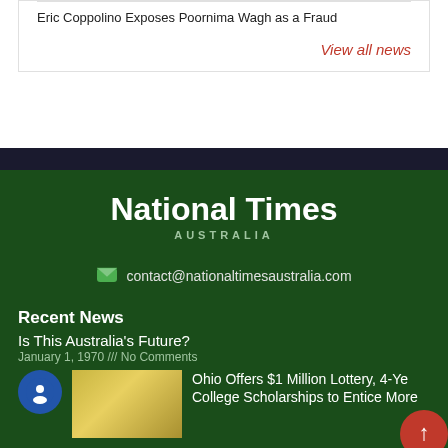Eric Coppolino Exposes Poornima Wagh as a Fraud
View all news
National Times AUSTRALIA
contact@nationaltimesaustralia.com
Recent News
Is This Australia's Future?
January 1, 1970 /// No Comments
Ohio Offers $1 Million Lottery, 4-Year College Scholarships to Entice More